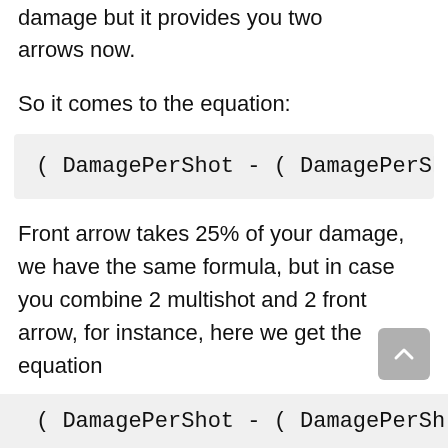damage but it provides you two arrows now.
So it comes to the equation:
Front arrow takes 25% of your damage, we have the same formula, but in case you combine 2 multishot and 2 front arrow, for instance, here we get the equation